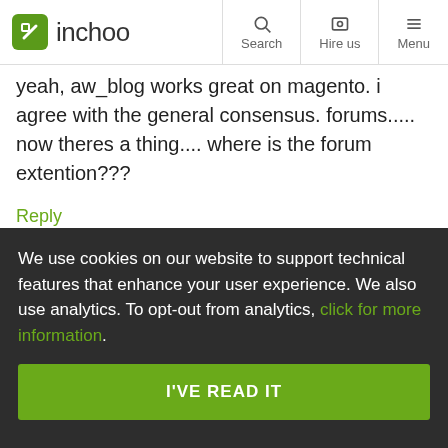inchoo | Search | Hire us | Menu
yeah, aw_blog works great on magento. i agree with the general consensus. forums..... now theres a thing.... where is the forum extention???
Reply
Avi Shefi says: Dec 08, 2009 at 8:01
True but not true. Some of our clients don't
We use cookies on our website to support technical features that enhance your user experience. We also use analytics. To opt-out from analytics, click for more information.
I'VE READ IT